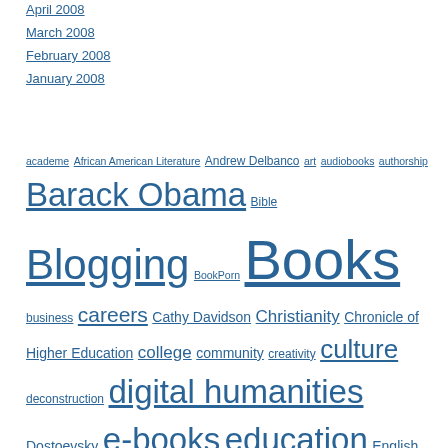April 2008
March 2008
February 2008
January 2008
academe African American Literature Andrew Delbanco art audiobooks authorship Barack Obama Bible Blogging BookPorn Books business careers Cathy Davidson Christianity Chronicle of Higher Education college community creativity culture deconstruction digital humanities Dostoevsky e-books education English studies ethics evaluation fiction gender Harlem Renaissance higher education Hillary Clinton humanities internet internet culture Iraq kindle language liberal arts libraries literacy literary criticism literature love masculinity memory Messiah College movies newspapers New York Times NITLE novels originality pedagogy philosophy pleasure poetry politics publishing quotations race racism Reading reading crisis religion Rethinking Success Stanley Fish teaching technology twitter undergratuate research violence Wake Forest writing